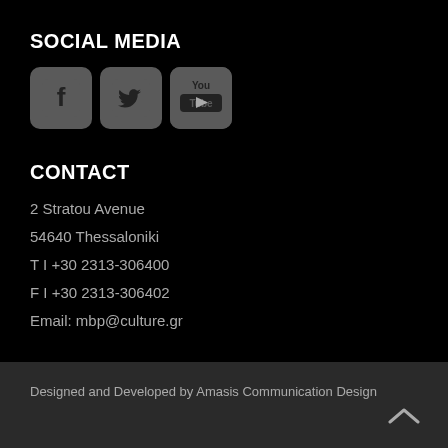SOCIAL MEDIA
[Figure (illustration): Three social media icons: Facebook (f logo), Twitter (bird logo), YouTube (YouTube logo), each in a rounded square with dark gray background]
CONTACT
2 Stratou Avenue
54640 Thessaloniki
T I +30 2313-306400
F I +30 2313-306402
Email: mbp@culture.gr
Designed and Developed by Amasis Communication Design